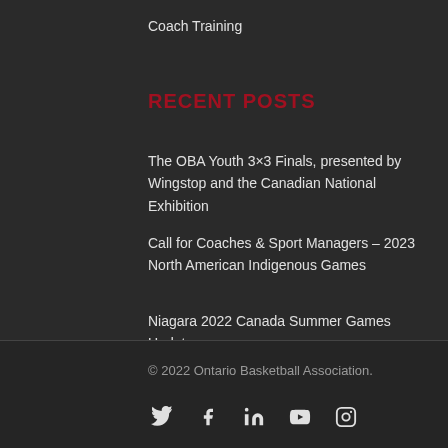Coach Training
RECENT POSTS
The OBA Youth 3×3 Finals, presented by Wingstop and the Canadian National Exhibition
Call for Coaches & Sport Managers – 2023 North American Indigenous Games
Niagara 2022 Canada Summer Games Update
© 2022 Ontario Basketball Association.